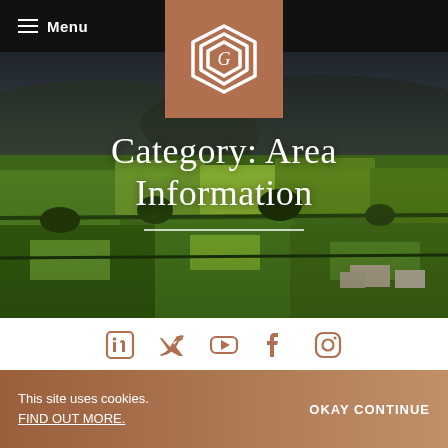≡ Menu
[Figure (photo): Aerial view of a lush green rural countryside with fields, hedgerows, trees, and a village in the background under a dramatic overcast sky]
[Figure (logo): White geometric diamond/hexagon logo with a stylized G letter on a copper/terracotta square background]
Category: Area Information
[Figure (infographic): Row of social media icons (LinkedIn, Twitter, YouTube, Facebook, Instagram) in copper/terracotta color]
This site uses cookies. FIND OUT MORE.
OKAY CONTINUE